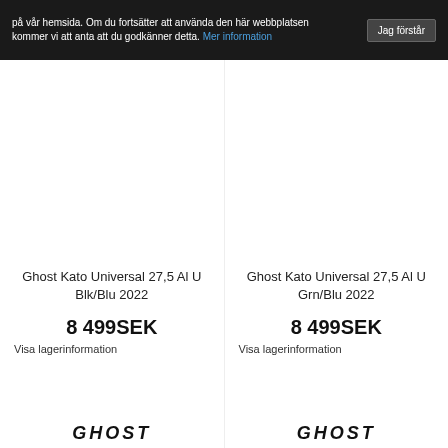på vår hemsida. Om du fortsätter att använda den här webbplatsen kommer vi att anta att du godkänner detta. Mer information
Ghost Kato Universal 27,5 Al U Blk/Blu 2022
8 499SEK
Visa lagerinformation
[Figure (logo): GHOST brand logo in italic bold text]
Ghost Kato Universal 27,5 Al U Grn/Blu 2022
8 499SEK
Visa lagerinformation
[Figure (logo): GHOST brand logo in italic bold text]